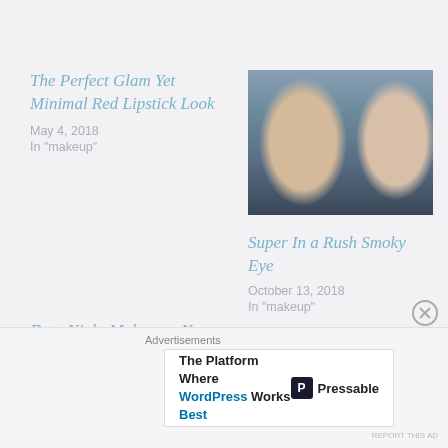The Perfect Glam Yet Minimal Red Lipstick Look
May 4, 2018
In "makeup"
[Figure (photo): Two blonde women taking a selfie, one holding what appears to be a makeup product]
Super In a Rush Smoky Eye
October 13, 2018
In "makeup"
Date Night Makeup – No Matter What The Date
February 14, 2018
In "makeup"
Advertisements
[Figure (screenshot): Advertisement banner: The Platform Where WordPress Works Best — Pressable]